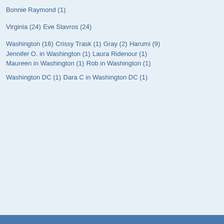Bonnie Raymond (1)
Virginia (24)
Eve Stavros (24)
Washington (16)
Crissy Trask (1)
Gray (2)
Harumi (9)
Jennifer O. in Washington (1)
Laura Ridenour (1)
Maureen in Washington (1)
Rob in Washington (1)
Washington DC (1)
Dara C in Washington DC (1)